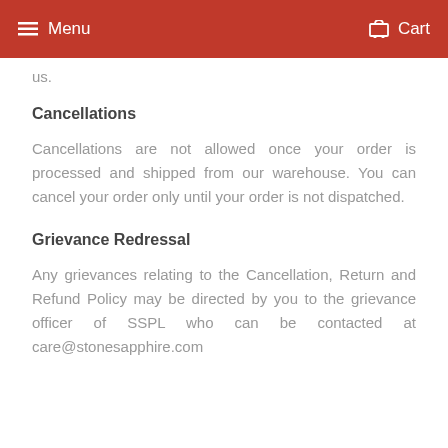Menu  Cart
us.
Cancellations
Cancellations are not allowed once your order is processed and shipped from our warehouse. You can cancel your order only until your order is not dispatched.
Grievance Redressal
Any grievances relating to the Cancellation, Return and Refund Policy may be directed by you to the grievance officer of SSPL who can be contacted at care@stonesapphire.com